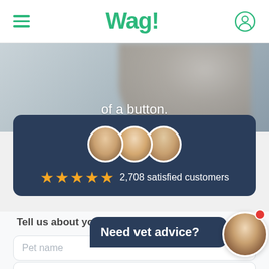Wag!
of a button.
[Figure (infographic): Three circular profile photos of vets/staff with white borders, overlapping, followed by five gold stars and text: 2,708 satisfied customers]
2,708 satisfied customers
Tell us about your pet
Pet name
Breed (type to search)
Age
Weight
Need vet advice?